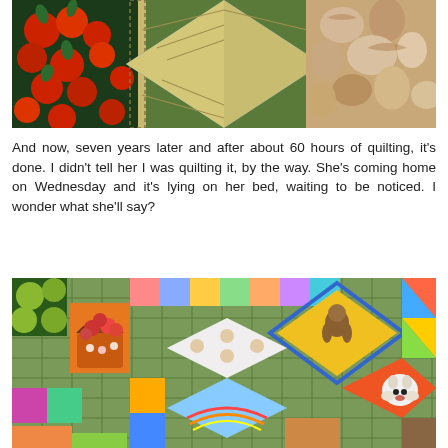[Figure (photo): Close-up photo of a colorful quilt showing a blue diamond/star center design with a bird or tree motif in orange and gold, surrounded by fabric panels featuring red tomatoes/cherries with green leaves on the left and seashells/coral on the right, with striped fabric borders.]
And now, seven years later and after about 60 hours of quilting, it's done. I didn't tell her I was quilting it, by the way. She's coming home on Wednesday and it's lying on her bed, waiting to be noticed. I wonder what she'll say?
[Figure (photo): Close-up photo of a colorful patchwork quilt with many small diamond and square blocks. Visible motifs include a basket of fruit, a monkey figure, green kiwi fruit, a dog, and various floral and animal fabric prints arranged in a traditional quilt block pattern with a green plaid sashing.]